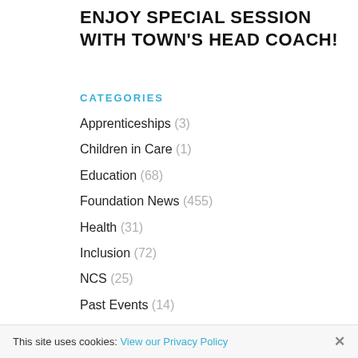ENJOY SPECIAL SESSION WITH TOWN'S HEAD COACH!
CATEGORIES
Apprenticeships (3)
Children in Care (1)
Education (68)
Foundation News (455)
Health (31)
Inclusion (72)
NCS (25)
Past Events (14)
PLCF 10 Year Awards (7)
This site uses cookies: View our Privacy Policy ×